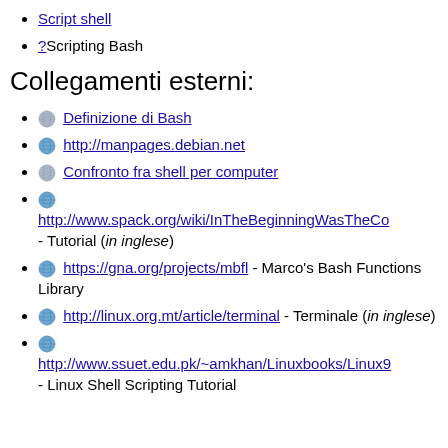Script shell
?Scripting Bash
Collegamenti esterni:
Definizione di Bash
http://manpages.debian.net
Confronto fra shell per computer
http://www.spack.org/wiki/InTheBeginningWasTheC... - Tutorial (in inglese)
https://gna.org/projects/mbfl - Marco's Bash Functions Library
http://linux.org.mt/article/terminal - Terminale (in inglese)
http://www.ssuet.edu.pk/~amkhan/Linuxbooks/Linux9... - Linux Shell Scripting Tutorial